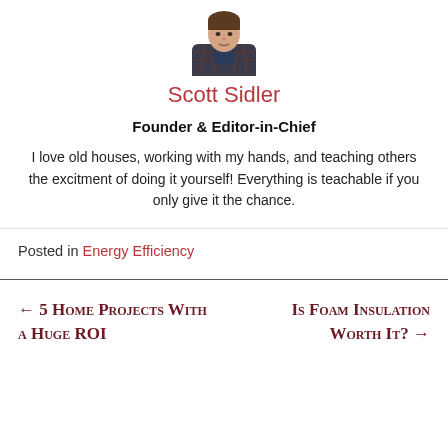[Figure (photo): Headshot photo of Scott Sidler, a man in a plaid shirt]
Scott Sidler
Founder & Editor-in-Chief
I love old houses, working with my hands, and teaching others the excitment of doing it yourself! Everything is teachable if you only give it the chance.
Posted in Energy Efficiency
← 5 Home Projects With a Huge ROI
Is Foam Insulation Worth It? →